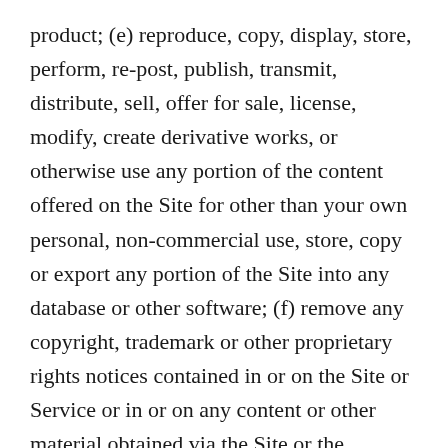product; (e) reproduce, copy, display, store, perform, re-post, publish, transmit, distribute, sell, offer for sale, license, modify, create derivative works, or otherwise use any portion of the content offered on the Site for other than your own personal, non-commercial use, store, copy or export any portion of the Site into any database or other software; (f) remove any copyright, trademark or other proprietary rights notices contained in or on the Site or Service or in or on any content or other material obtained via the Site or the Services; (g) use any robot, spider, site search/retrieval application, or other automated device, process or means to access,